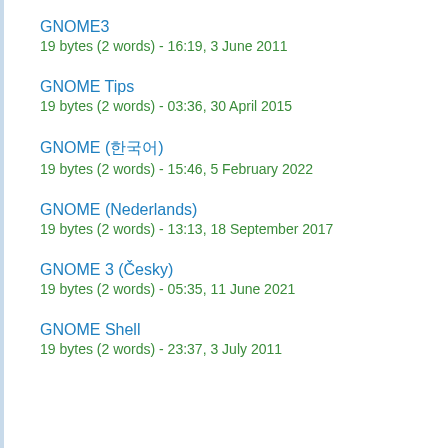GNOME3
19 bytes (2 words) - 16:19, 3 June 2011
GNOME Tips
19 bytes (2 words) - 03:36, 30 April 2015
GNOME (한국어)
19 bytes (2 words) - 15:46, 5 February 2022
GNOME (Nederlands)
19 bytes (2 words) - 13:13, 18 September 2017
GNOME 3 (Česky)
19 bytes (2 words) - 05:35, 11 June 2021
GNOME Shell
19 bytes (2 words) - 23:37, 3 July 2011